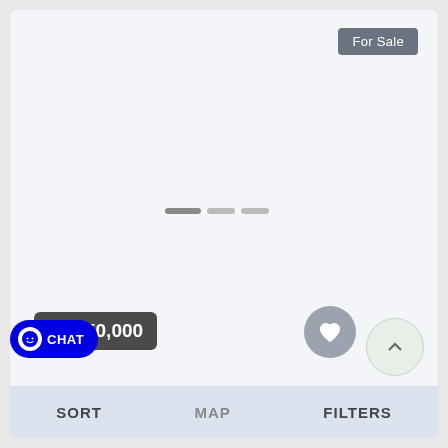[Figure (screenshot): Real estate listing card showing a property listing with a light blue-gray placeholder image area, a 'For Sale' badge in the top right, a loading indicator in the center, a price badge showing $2,350,000 in the lower left, a heart/favorite button, a scroll-to-top button, a CHAT button with smiley face icon, and partial property title text 'GOLF ACCESS + LAKEFRONT Property -']
For Sale
$2,350,000
CHAT
GOLF ACCESS + LAKEFRONT Property -
SORT   MAP   FILTERS